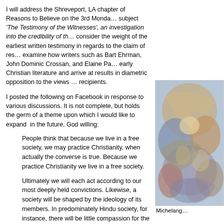I will address the Shreveport, LA chapter of Reasons to Believe on the 3rd Monda… subject 'The Testimony of the Witnesses', an investigation into the credibility of th… consider the weight of the earliest written testimony in regards to the claim of res… examine how writers such as Bart Ehrman, John Dominic Crossan, and Elaine Pa… early Christian literature and arrive at results in diametric opposition to the views … recipients.
I posted the following on Facebook in response to various discussions. It is not complete, but holds the germ of a theme upon which I would like to expand in the future, God willing:
People think that because we live in a free society, we may practice Christianity, when actually the converse is true. Because we practice Christianity we live in a free society.
Ultimately we will each act according to our most deeply held convictions. Likewise, a society will be shaped by the ideology of its members. In predominately Hindu society, for instance, there will be little compassion for the downtrodden – after all, they are merely reaping the fruits of their actions in a previous life. In the Islamic world, there exists little tolerance for opposing viewpoints – possession of a Bible is punishable by death in Saudi Arabia, for instance; even though that nation is generally considered to be a rational, modern society. Likewise Marxism is a jealous god, accepting no rivals.
[Figure (photo): Michelangelo painting detail, colorful figures in classical style]
Michelang…